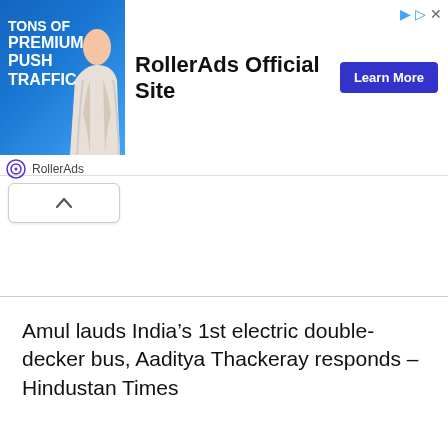[Figure (screenshot): RollerAds advertisement banner showing a woman with text 'TONS OF PREMIUM PUSH TRAFFIC', headline 'RollerAds Official Site', and a blue 'Learn More' button. Below the ad is a RollerAds logo and label.]
Amul lauds India’s 1st electric double-decker bus, Aaditya Thackeray responds – Hindustan Times